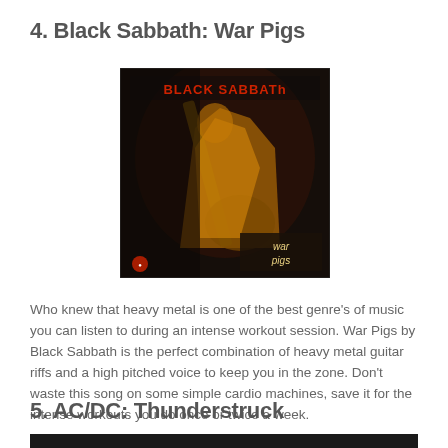4. Black Sabbath: War Pigs
[Figure (photo): Black Sabbath War Pigs album cover showing a guitarist silhouetted in yellow/orange tones against a dark background, with 'BLACK SABBATH' text in red at top and 'War Pigs' text in bottom right corner]
Who knew that heavy metal is one of the best genre's of music you can listen to during an intense workout session. War Pigs by Black Sabbath is the perfect combination of heavy metal guitar riffs and a high pitched voice to keep you in the zone. Don't waste this song on some simple cardio machines, save it for the intense workouts you do once or twice a week.
5. AC/DC: Thunderstruck
[Figure (photo): Bottom portion of another album cover, dark/black image partially visible]